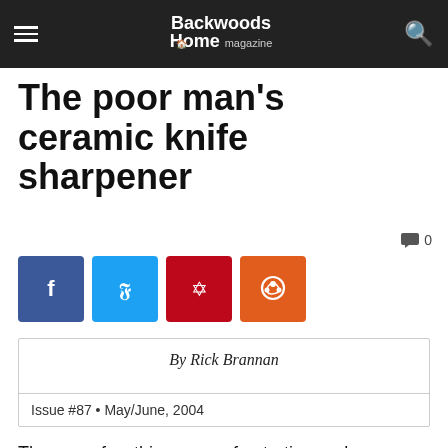Backwoods Home magazine
The poor man’s ceramic knife sharpener
[Figure (infographic): Social share buttons: Facebook (blue), Twitter (light blue), Pinterest (red), Reddit (orange)]
By Rick Brannan
Issue #87 • May/June, 2004
There are few things more frustrating and dangerous than working with a dull knife. In my quest for a sharp knife, I have purchased many different styles of knife sharpeners. From whetstones to oilstones, fixed-angle sharpeners to diamond dust impregnated steels, I have used them all and have spent